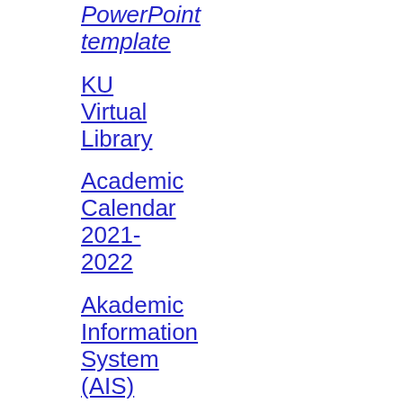PowerPoint template
KU Virtual Library
Academic Calendar 2021-2022
Akademic Information System (AIS)
Timetables
Student Practice
Faculty Student Representatives